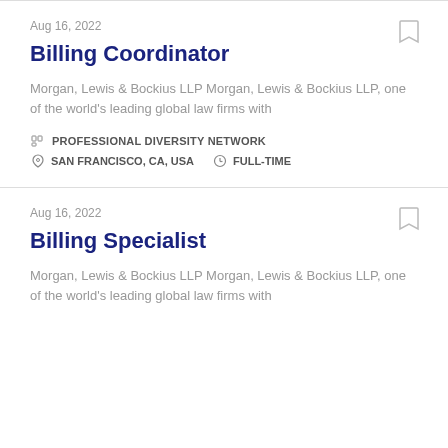Aug 16, 2022
Billing Coordinator
Morgan, Lewis & Bockius LLP Morgan, Lewis & Bockius LLP, one of the world's leading global law firms with
PROFESSIONAL DIVERSITY NETWORK
SAN FRANCISCO, CA, USA   FULL-TIME
Aug 16, 2022
Billing Specialist
Morgan, Lewis & Bockius LLP Morgan, Lewis & Bockius LLP, one of the world's leading global law firms with